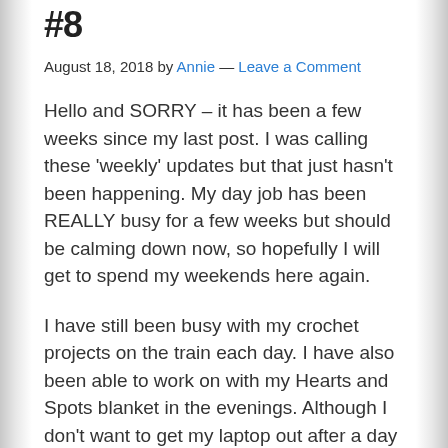#8
August 18, 2018 by Annie — Leave a Comment
Hello and SORRY – it has been a few weeks since my last post.   I was calling these 'weekly' updates but that just hasn't been happening.   My day job has been REALLY busy for a few weeks but should be calming down now, so hopefully I will get to spend my weekends here again.
I have still been busy with my crochet projects on the train each day.   I have also been able to work on with my Hearts and Spots blanket in the evenings.  Although I don't want to get my laptop out after a day in the office – I